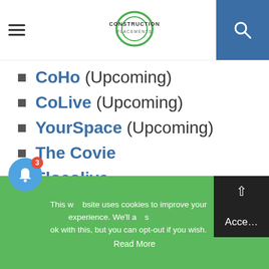Construction Placements
CoHo (Upcoming)
CoLive (Upcoming)
YourSpace (Upcoming)
The Covie
Flocolive
HooLiv
This website uses cookies to improve your experience. We'll assume you're ok with this, but you can opt-out if you wish. Accept Read More